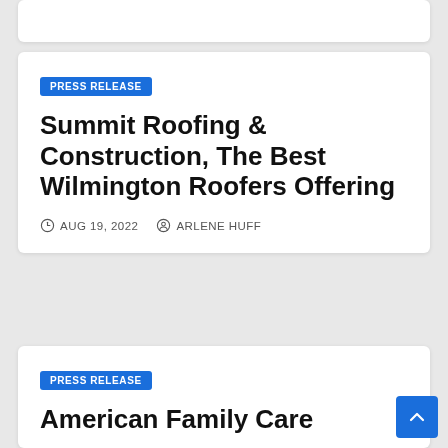PRESS RELEASE
Summit Roofing & Construction, The Best Wilmington Roofers Offering
AUG 19, 2022  ARLENE HUFF
PRESS RELEASE
American Family Care